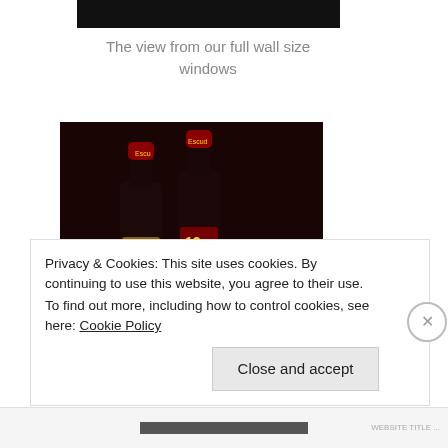[Figure (photo): Top portion of a dark/black image, cropped at top of page]
The view from our full wall size windows
[Figure (photo): Two dark beer bottles (Escudo brand) on a wooden surface against a dark background]
Privacy & Cookies: This site uses cookies. By continuing to use this website, you agree to their use.
To find out more, including how to control cookies, see here: Cookie Policy
Close and accept